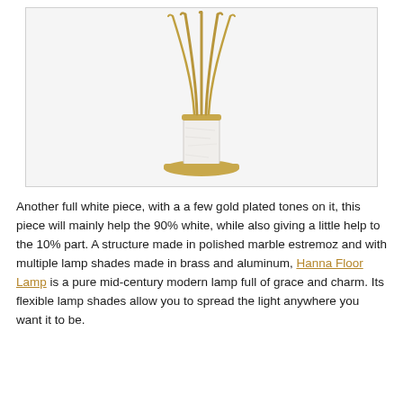[Figure (photo): A floor lamp with multiple curved gold/brass lamp shade arms extending upward from a white polished marble estremoz cylindrical column base, with a gold circular base plate.]
Another full white piece, with a a few gold plated tones on it, this piece will mainly help the 90% white, while also giving a little help to the 10% part. A structure made in polished marble estremoz and with multiple lamp shades made in brass and aluminum, Hanna Floor Lamp is a pure mid-century modern lamp full of grace and charm. Its flexible lamp shades allow you to spread the light anywhere you want it to be.